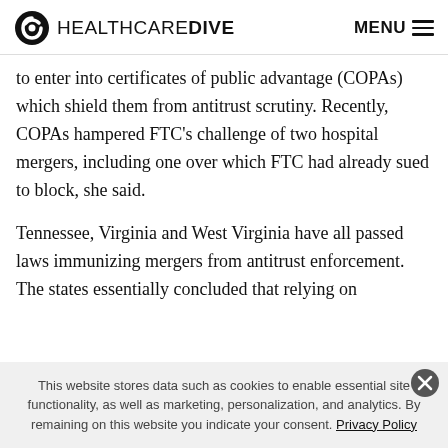HEALTHCAREDIVE  MENU
to enter into certificates of public advantage (COPAs) which shield them from antitrust scrutiny. Recently, COPAs hampered FTC’s challenge of two hospital mergers, including one over which FTC had already sued to block, she said.
Tennessee, Virginia and West Virginia have all passed laws immunizing mergers from antitrust enforcement. The states essentially concluded that relying on
This website stores data such as cookies to enable essential site functionality, as well as marketing, personalization, and analytics. By remaining on this website you indicate your consent. Privacy Policy